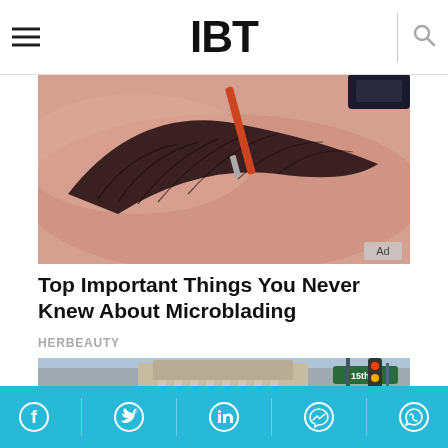IBT
[Figure (photo): Close-up of microblading procedure on an eyebrow with a metal tool being applied. Ad badge visible in bottom-right corner.]
Top Important Things You Never Knew About Microblading
HERBEAUTY
[Figure (photo): Street scene in Philadelphia with a historic building, street signs including 15th St, a young man smiling, and a film clapperboard being held in the foreground.]
Social share bar with Facebook, Twitter, LinkedIn, Messenger, WhatsApp icons